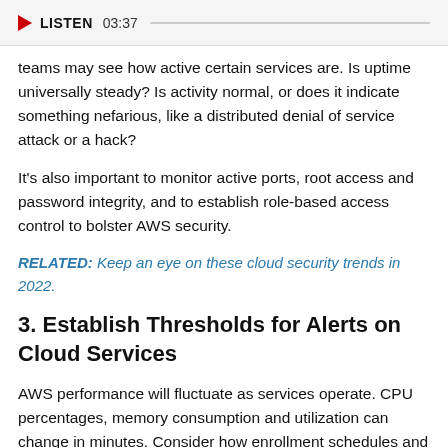LISTEN 03:37
teams may see how active certain services are. Is uptime universally steady? Is activity normal, or does it indicate something nefarious, like a distributed denial of service attack or a hack?
It's also important to monitor active ports, root access and password integrity, and to establish role-based access control to bolster AWS security.
RELATED: Keep an eye on these cloud security trends in 2022.
3. Establish Thresholds for Alerts on Cloud Services
AWS performance will fluctuate as services operate. CPU percentages, memory consumption and utilization can change in minutes. Consider how enrollment schedules and